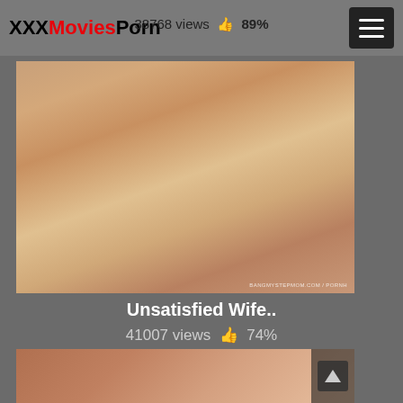XXXMoviesPorn  38768 views 89%
[Figure (photo): Video thumbnail for 'Unsatisfied Wife..' showing adult content]
Unsatisfied Wife..
41007 views 74%
[Figure (photo): Partial video thumbnail showing adult content, second video card]